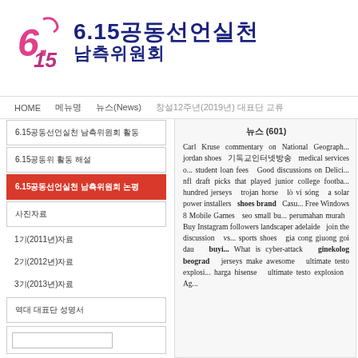[Figure (logo): 6.15 Korean organization logo with stylized numbers in pink/magenta and Korean text in dark blue reading 6.15공동선언실천 남측위원회]
HOME   메뉴명   뉴스(News)   창설12주년(2019년) 대표단 교류
6.15공동선언실천 남측위원회 활동
6.15공동위 활동 해설
6.15공동선언실천 남측위원회 논평
사진자료
1기(2011년)자료
2기(2012년)자료
3기(2013년)자료
역대 대표단 성명서
뉴스 (601)
Carl Kruse commentary on National Geographic jordan shoes 기독교인터넷방송 medical services online student loan fees Good discussions on Delici... nfl draft picks that played junior college footba... hundred jerseys trojan horse lò vi sóng a solar power installers shoes brand Casu... Free Windows 8 Mobile Games seo small bu... perumahan murah Buy Instagram followers landscaper adelaide join the discussion vs... sports shoes gia cong giuong goi dau buyi... What is cyber-attack ginekolog beograd jerseys make awesome ultimate testo explosi... harga hisense ultimate testo explosion Ag...